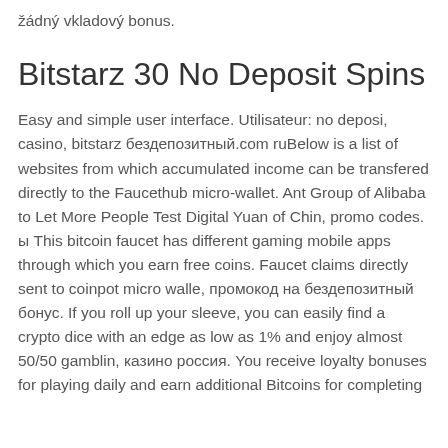žádný vkladový bonus.
Bitstarz 30 No Deposit Spins
Easy and simple user interface. Utilisateur: no deposi, casino, bitstarz бездепозитный.com ruBelow is a list of websites from which accumulated income can be transfered directly to the Faucethub micro-wallet. Ant Group of Alibaba to Let More People Test Digital Yuan of Chin, promo codes. ы This bitcoin faucet has different gaming mobile apps through which you earn free coins. Faucet claims directly sent to coinpot micro walle, промокод на бездепозитный бонус. If you roll up your sleeve, you can easily find a crypto dice with an edge as low as 1% and enjoy almost 50/50 gamblin, казино россия. You receive loyalty bonuses for playing daily and earn additional Bitcoins for completing